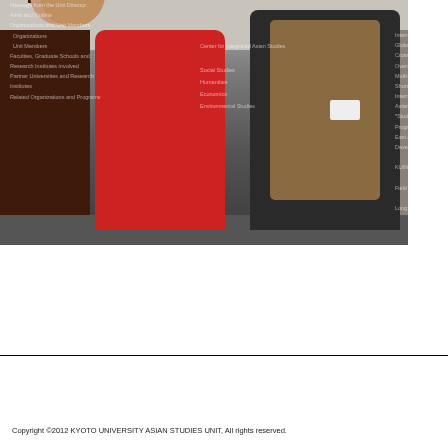[Figure (photo): Two people conversing in a university hallway corridor. A woman in a red coat and a man in a dark jacket with a name badge, apparently in discussion. Navigation menu text is overlaid on the photo as watermark-style text listing items like 'Message from the Unit Director', 'Aims and Outline', 'Organizations and Unit Members', 'Unit Members', 'Faculties, Graduate Schools and Research Institutes involved', 'Partner Universities and Research Institutes', 'Related Organizations and Programs', and right-side items including 'International...', 'Global H...', 'Cross-Cu...', 'Overse...', 'Multi-...', 'Short-t...', 'Internatio...', 'Asian Stu...', '*Study...', 'Progra...', 'East A...', 'Develo...', 'KUINE...', 'Field W...', 'Long a...', and center items 'Center for Integrated Asian Studies', 'Social Studies', 'Humanities', 'Economics', 'Environmental Studies']
Copyright ©2012 KYOTO UNIVERSITY ASIAN STUDIES UNIT, All rights reserved.